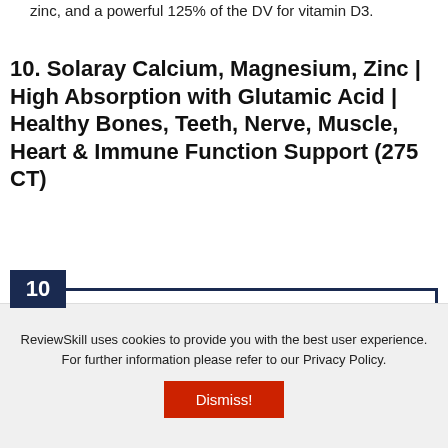zinc, and a powerful 125% of the DV for vitamin D3.
10. Solaray Calcium, Magnesium, Zinc | High Absorption with Glutamic Acid | Healthy Bones, Teeth, Nerve, Muscle, Heart & Immune Function Support (275 CT)
[Figure (other): Ranked product box with number 10 badge in dark navy blue, border outline, and partial product image (pill bottle) visible at bottom]
ReviewSkill uses cookies to provide you with the best user experience. For further information please refer to our Privacy Policy.